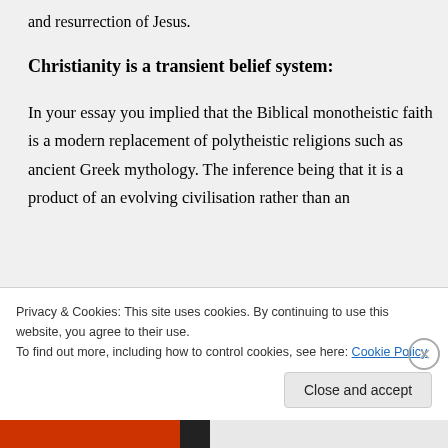and resurrection of Jesus.
Christianity is a transient belief system:
In your essay you implied that the Biblical monotheistic faith is a modern replacement of polytheistic religions such as ancient Greek mythology. The inference being that it is a product of an evolving civilisation rather than an
Privacy & Cookies: This site uses cookies. By continuing to use this website, you agree to their use.
To find out more, including how to control cookies, see here: Cookie Policy
Close and accept